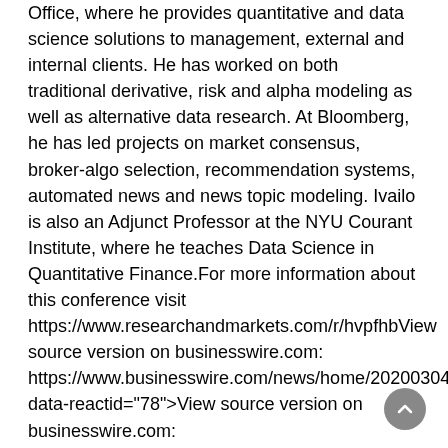Office, where he provides quantitative and data science solutions to management, external and internal clients. He has worked on both traditional derivative, risk and alpha modeling as well as alternative data research. At Bloomberg, he has led projects on market consensus, broker-algo selection, recommendation systems, automated news and news topic modeling. Ivailo is also an Adjunct Professor at the NYU Courant Institute, where he teaches Data Science in Quantitative Finance.For more information about this conference visit https://www.researchandmarkets.com/r/hvpfhbView source version on businesswire.com: https://www.businesswire.com/news/home/20200304005501 data-reactid="78">View source version on businesswire.com: https://www.businesswire.com/news/home/20200304005501 data-reactid="79">ContactsLaura Wood, Senior Press Managerpress@researchandmarkets.com For E.S.T Office Hours Call 1-917-300-0470For U.S./CAN Toll Free Call 1-800-526-8630For GMT Office Hours Call +353-1-416-8900" data-reactid="80">ResearchAndMarkets.comLaura Wood, Senior Press Managerpress@researchandmarkets.com For E.S.T